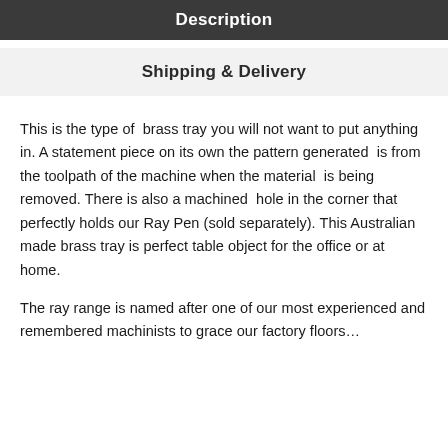Description
Shipping & Delivery
This is the type of  brass tray you will not want to put anything in. A statement piece on its own the pattern generated  is from the toolpath of the machine when the material  is being removed. There is also a machined  hole in the corner that perfectly holds our Ray Pen (sold separately). This Australian made brass tray is perfect table object for the office or at home.
The ray range is named after one of our most experienced and remembered machinists to grace our factory floors…